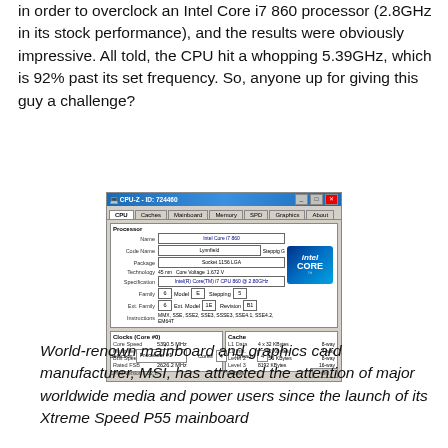in order to overclock an Intel Core i7 860 processor (2.8GHz in its stock performance), and the results were obviously impressive. All told, the CPU hit a whopping 5.39GHz, which is 92% past its set frequency. So, anyone up for giving this guy a challenge?
[Figure (screenshot): CPU-Z screenshot showing Intel Core i7 860 processor details including Core Speed 5390.5 MHz, Multiplier x22.0, Bus Speed 245.39 MHz, Rated FSB 2626.2 MHz, and cache information.]
World-renown mainboard and graphics card manufacturer, MSI, has attracted the attention of major worldwide media and power users since the launch of its Xtreme Speed P55 mainboard